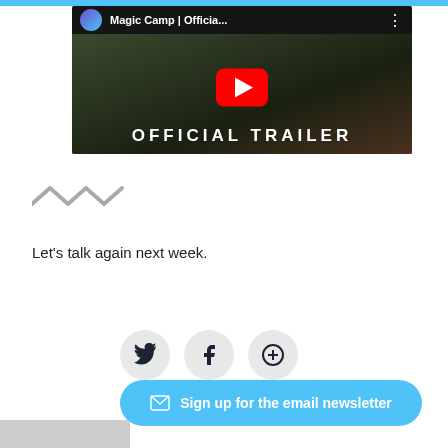[Figure (screenshot): YouTube video thumbnail for 'Magic Camp | Officia...' showing an official trailer with red YouTube play button and dark background with people]
[Figure (illustration): Wavy/squiggly line icon or decoration]
Let's talk again next week.
[Figure (illustration): Social media icons: Twitter bird, Facebook f, and a circle-plus share button]
Sign up for the email newsletter